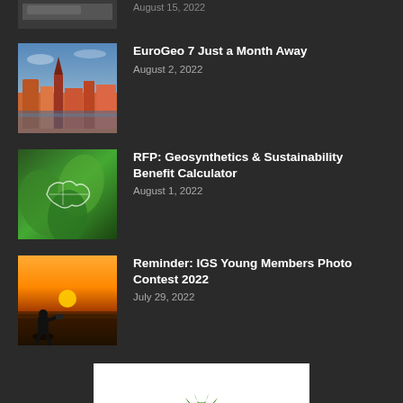[Figure (photo): Partially visible image at top, clipped]
EuroGeo 7 Just a Month Away
August 2, 2022
RFP: Geosynthetics & Sustainability Benefit Calculator
August 1, 2022
Reminder: IGS Young Members Photo Contest 2022
July 29, 2022
[Figure (logo): ClosureTurf logo with green grass icon on white background]